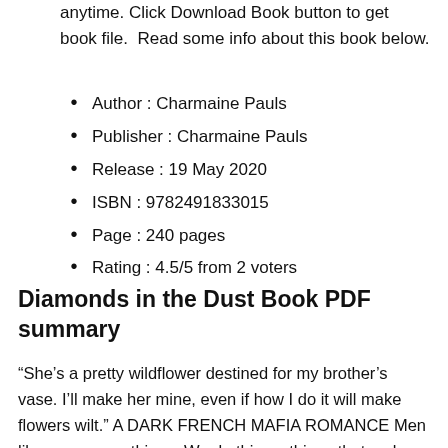anytime. Click Download Book button to get book file. Read some info about this book below.
Author : Charmaine Pauls
Publisher : Charmaine Pauls
Release : 19 May 2020
ISBN : 9782491833015
Page : 240 pages
Rating : 4.5/5 from 2 voters
Diamonds in the Dust Book PDF summary
“She’s a pretty wildflower destined for my brother’s vase. I’ll make her mine, even if how I do it will make flowers wilt.” A DARK FRENCH MAFIA ROMANCE Men like us, we see things. We do things, things that make us unfeeling. That’s the price of power and money, of living la belle vie and running the French mafia. Then she came along like